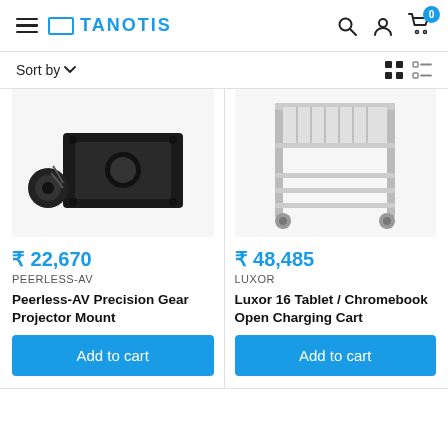TANOTIS
Sort by
[Figure (photo): Peerless-AV Precision Gear Projector Mount — black metal tray with a round gear mechanism beside it]
₹ 22,670
PEERLESS-AV
Peerless-AV Precision Gear Projector Mount
Add to cart
[Figure (photo): Luxor 16 Tablet / Chromebook Open Charging Cart — a grey metal multi-shelf cart on wheels]
₹ 48,485
LUXOR
Luxor 16 Tablet / Chromebook Open Charging Cart
Add to cart